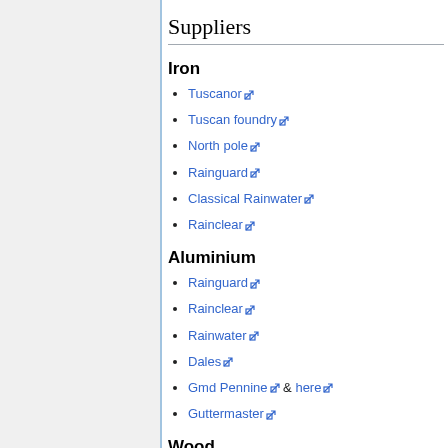Suppliers
Iron
Tuscanor
Tuscan foundry
North pole
Rainguard
Classical Rainwater
Rainclear
Aluminium
Rainguard
Rainclear
Rainwater
Dales
Gmd Pennine & here
Guttermaster
Wood